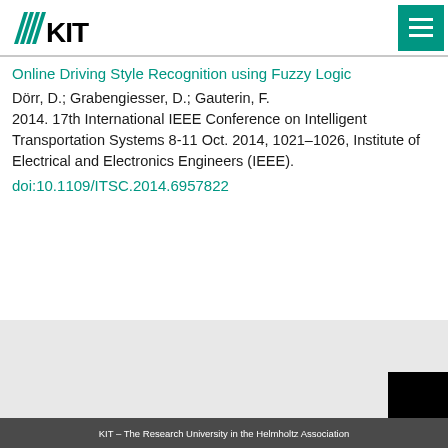KIT – Karlsruhe Institute of Technology
Online Driving Style Recognition using Fuzzy Logic
Dörr, D.; Grabengiesser, D.; Gauterin, F.
2014. 17th International IEEE Conference on Intelligent Transportation Systems 8-11 Oct. 2014, 1021–1026, Institute of Electrical and Electronics Engineers (IEEE).
doi:10.1109/ITSC.2014.6957822
KIT – The Research University in the Helmholtz Association